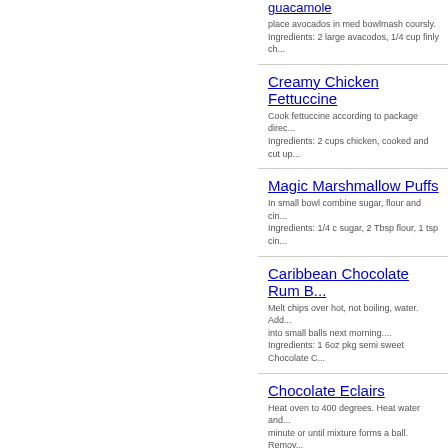guacamole - place avocados in med bowlmash coursly. Ingredients: 2 large avacodos, 1/4 cup finly ch...
Creamy Chicken Fettuccine - Cook fettuccine according to package direc... Ingredients: 2 cups chicken, cooked and cut up...
Magic Marshmallow Puffs - In small bowl combine sugar, flour and cin... Ingredients: 1/4 c sugar, 2 Tbsp flour, 1 tsp cin...
Caribbean Chocolate Rum B... - Melt chips over hot, not boiling, water. Add... into small balls next morning.... Ingredients: 1 6oz pkg semi sweet Chocolate C...
Chocolate Eclairs - Heat oven to 400 degrees. Heat water and... minute or until mixture forms a ball. Remov... Ingredients: 1 C. water, 1/2 C. butter or margar...
Pineapple-Orange Pasta Sal... - Combine eggs,flour,sugar,salt,lemon juice ... Ingredients: 1 egg, 1 T. flour, 1/2 c. sugar, 1/4 t...
Carmel Corn - Dessert - Boil first 4 ingredients for 5 minutes. Stir in... Ingredients: 2 cups Brown Sugar, 1 cup Butter ...
Strawberry Rhubarb Pie...